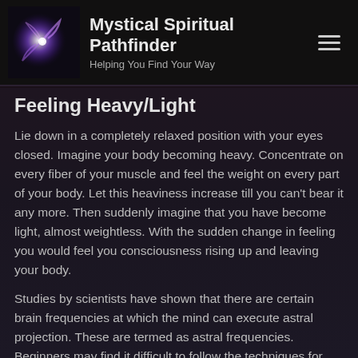Mystical Spiritual Pathfinder — Helping You Find Your Way
Feeling Heavy/Light
Lie down in a completely relaxed position with your eyes closed. Imagine your body becoming heavy. Concentrate on every fiber of your muscle and feel the weight on every part of your body. Let this heaviness increase till you can't bear it any more. Then suddenly imagine that you have become light, almost weightless. With the sudden change in feeling you would feel you consciousness rising up and leaving your body.
Studies by scientists have shown that there are certain brain frequencies at which the mind can execute astral projection. These are termed as astral frequencies. Beginners may find it difficult to follow the techniques for astral projection. However, astral projection for beginners can be made easy by the use of binaural